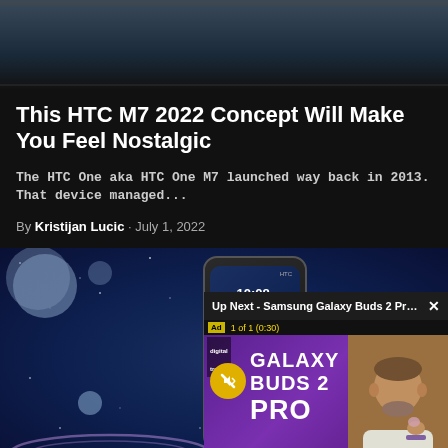[Figure (photo): Dark atmospheric top banner image with blue-grey tones showing an abstract or architectural background]
This HTC M7 2022 Concept Will Make You Feel Nostalgic
The HTC One aka HTC One M7 launched way back in 2013. That device managed...
By Kristijan Lucic · July 1, 2022
[Figure (screenshot): Video player showing an HTC concept phone against a space background, with an overlay ad popup showing 'Up Next - Samsung Galaxy Buds 2 Pro r...' with a Galaxy Buds 2 Pro advertisement thumbnail featuring the text GALAXY BUDS 2 PRO and a presenter, plus a mute button and Digital Trends logo. Ad badge shows 'Ad 1 of 1 (0:30)'.]